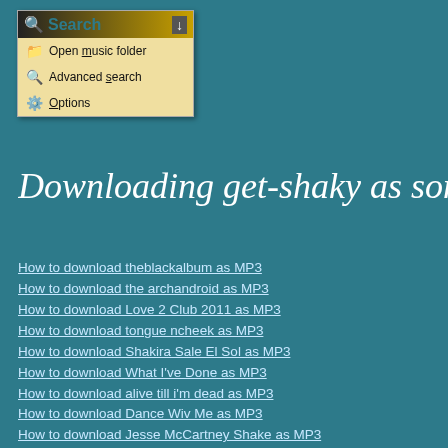[Figure (screenshot): Application dropdown menu with search icon, showing options: Open music folder, Advanced search, Options]
Downloading get-shaky as song for fre
How to download theblackalbum as MP3
How to download the archandroid as MP3
How to download Love 2 Club 2011 as MP3
How to download tongue ncheek as MP3
How to download Shakira Sale El Sol as MP3
How to download What I've Done as MP3
How to download alive till i'm dead as MP3
How to download Dance Wiv Me as MP3
How to download Jesse McCartney Shake as MP3
How to download eminem music video as MP3
How to download Rooftops (A Liberation Broadcast) as MP3
How to download Kiss Kiss Bang Bang as MP3
How to download leighton meester words i couldnt say as MP3
How to download Happy as MP3
How to download its not the end of the world but i can as MP3